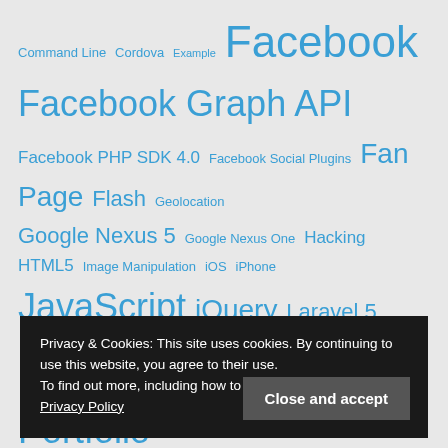Command Line Cordova Example Facebook Facebook Graph API Facebook PHP SDK 4.0 Facebook Social Plugins Fan Page Flash Geolocation Google Nexus 5 Google Nexus One Hacking HTML5 Image Manipulation iOS iPhone JavaScript jQuery Laravel 5 Linux NodeJS Parse PDF PHP Plugin Portfolio Review Security Server SSH SSL Sysadmin Tutorial WordPress WordPress Plugins
Privacy & Cookies: This site uses cookies. By continuing to use this website, you agree to their use. To find out more, including how to control cookies, see here: Privacy Policy